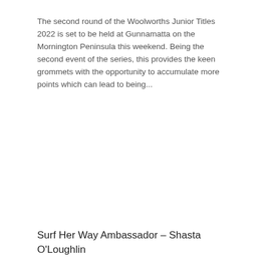The second round of the Woolworths Junior Titles 2022 is set to be held at Gunnamatta on the Mornington Peninsula this weekend. Being the second event of the series, this provides the keen grommets with the opportunity to accumulate more points which can lead to being...
Surf Her Way Ambassador – Shasta O'Loughlin